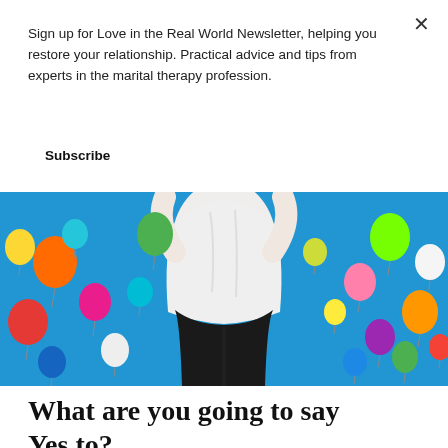Sign up for Love in the Real World Newsletter, helping you restore your relationship. Practical advice and tips from experts in the marital therapy profession.
Subscribe
[Figure (photo): Person standing with arms raised, surrounded by colorful balloons against a bright blue background, viewed from behind wearing white top and black pants.]
What are you going to say Yes to?